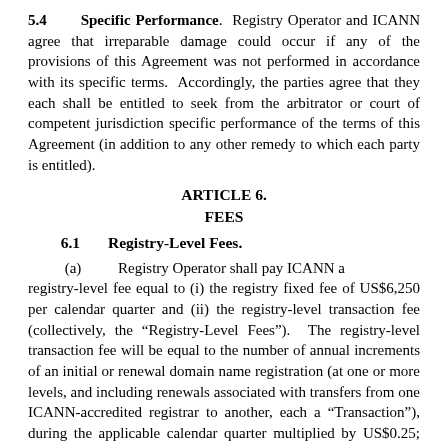5.4 Specific Performance. Registry Operator and ICANN agree that irreparable damage could occur if any of the provisions of this Agreement was not performed in accordance with its specific terms. Accordingly, the parties agree that they each shall be entitled to seek from the arbitrator or court of competent jurisdiction specific performance of the terms of this Agreement (in addition to any other remedy to which each party is entitled).
ARTICLE 6.
FEES
6.1 Registry-Level Fees.
(a) Registry Operator shall pay ICANN a registry-level fee equal to (i) the registry fixed fee of US$6,250 per calendar quarter and (ii) the registry-level transaction fee (collectively, the “Registry-Level Fees”). The registry-level transaction fee will be equal to the number of annual increments of an initial or renewal domain name registration (at one or more levels, and including renewals associated with transfers from one ICANN-accredited registrar to another, each a “Transaction”), during the applicable calendar quarter multiplied by US$0.25; provided, however that the registry-level transaction fee shall not apply until and unless more than 50,000 Transactions have